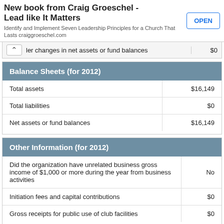[Figure (other): Advertisement banner for Craig Groeschel book 'Lead like It Matters' with OPEN button]
|  |  |
| --- | --- |
| ler changes in net assets or fund balances | $0 |
| Balance Sheets (for 2012) |  |
| --- | --- |
| Total assets | $16,149 |
| Total liabilities | $0 |
| Net assets or fund balances | $16,149 |
| Other Information (for 2012) |  |
| --- | --- |
| Did the organization have unrelated business gross income of $1,000 or more during the year from business activities | No |
| Initiation fees and capital contributions | $0 |
| Gross receipts for public use of club facilities | $0 |